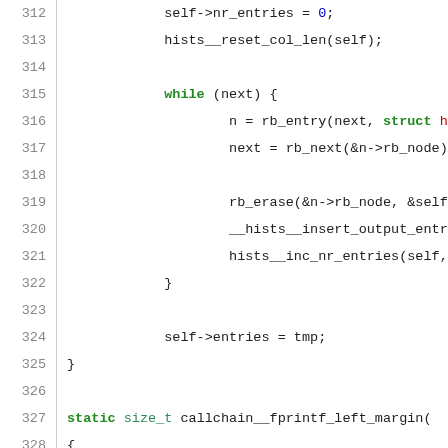[Figure (screenshot): Source code listing in C, lines 312-338, with syntax highlighting. Keywords in green/blue, strings in red, line numbers in gray on left margin.]